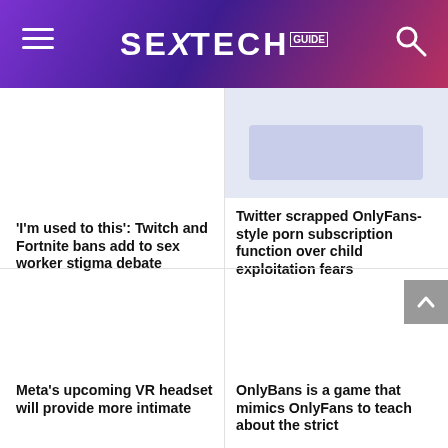SEXTECH GUIDE
'I'm used to this': Twitch and Fortnite bans add to sex worker stigma debate
Twitter scrapped OnlyFans-style porn subscription function over child exploitation fears
Meta's upcoming VR headset will provide more intimate
OnlyBans is a game that mimics OnlyFans to teach about the strict